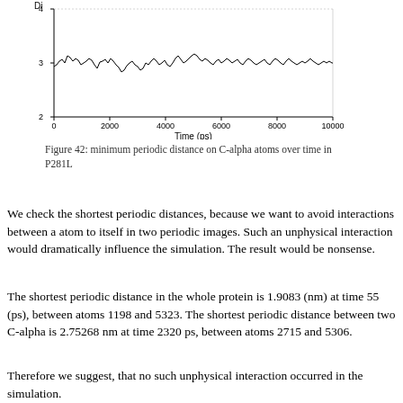[Figure (continuous-plot): Line chart showing minimum periodic distance on C-alpha atoms over time (ps). X-axis: 0 to 10000 ps. Y-axis: approximately 2 to 4 (distance, Di). The line fluctuates around 3 throughout the simulation.]
Figure 42: minimum periodic distance on C-alpha atoms over time in P281L
We check the shortest periodic distances, because we want to avoid interactions between a atom to itself in two periodic images. Such an unphysical interaction would dramatically influence the simulation. The result would be nonsense.
The shortest periodic distance in the whole protein is 1.9083 (nm) at time 55 (ps), between atoms 1198 and 5323. The shortest periodic distance between two C-alpha is 2.75268 nm at time 2320 ps, between atoms 2715 and 5306.
Therefore we suggest, that no such unphysical interaction occurred in the simulation.